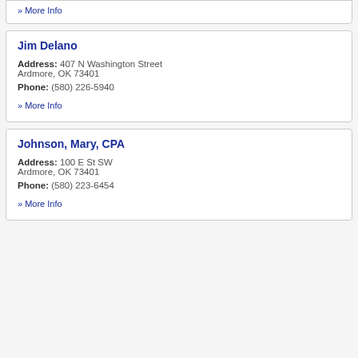» More Info
Jim Delano
Address: 407 N Washington Street Ardmore, OK 73401
Phone: (580) 226-5940
» More Info
Johnson, Mary, CPA
Address: 100 E St SW Ardmore, OK 73401
Phone: (580) 223-6454
» More Info